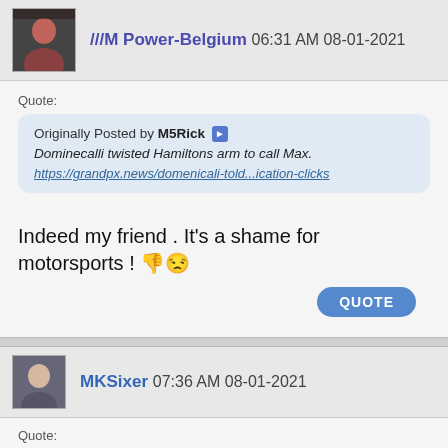///M Power-Belgium 06:31 AM 08-01-2021
Quote: Originally Posted by M5Rick
Dominecalli twisted Hamiltons arm to call Max.
https://grandpx.news/domenicali-told...ication-clicks
Indeed my friend . It's a shame for motorsports ! 👎😒
MKSixer 07:36 AM 08-01-2021
Quote: Originally Posted by M5Rick
Merc is now an out of control 'monster' with unfair advantage since 2014 getting help from F1